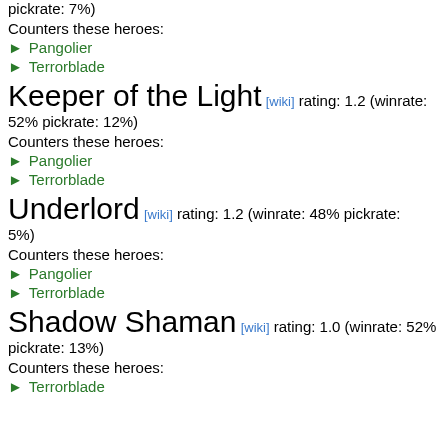pickrate: 7%)
Counters these heroes:
Pangolier
Terrorblade
Keeper of the Light [wiki] rating: 1.2 (winrate: 52% pickrate: 12%)
Counters these heroes:
Pangolier
Terrorblade
Underlord [wiki] rating: 1.2 (winrate: 48% pickrate: 5%)
Counters these heroes:
Pangolier
Terrorblade
Shadow Shaman [wiki] rating: 1.0 (winrate: 52% pickrate: 13%)
Counters these heroes:
Terrorblade